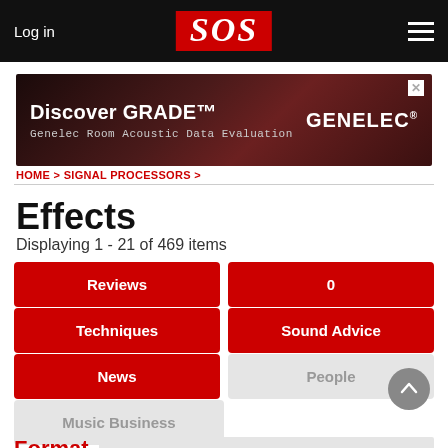Log in | SOS | Menu
[Figure (illustration): Genelec advertisement banner: Discover GRADE™ Genelec Room Acoustic Data Evaluation]
HOME > SIGNAL PROCESSORS >
Effects
Displaying 1 - 21 of 469 items
Reviews | 0
Techniques | Sound Advice
News | People
Music Business
Format
19" rack  18 | 500 Series  3